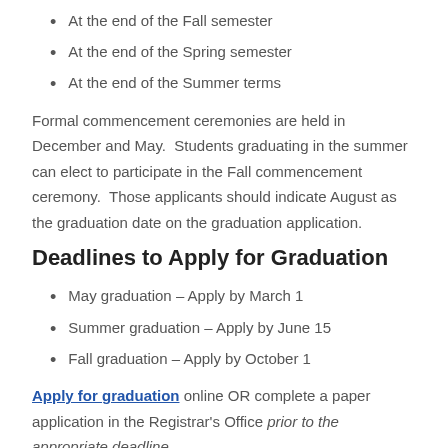At the end of the Fall semester
At the end of the Spring semester
At the end of the Summer terms
Formal commencement ceremonies are held in December and May.  Students graduating in the summer can elect to participate in the Fall commencement ceremony.  Those applicants should indicate August as the graduation date on the graduation application.
Deadlines to Apply for Graduation
May graduation – Apply by March 1
Summer graduation – Apply by June 15
Fall graduation – Apply by October 1
Apply for graduation online OR complete a paper application in the Registrar's Office prior to the appropriate deadline.